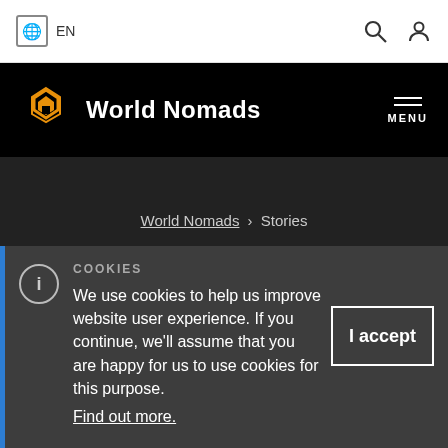EN | search icon | user icon
[Figure (logo): World Nomads logo with orange stylized mask icon and white text on black background]
World Nomads › Stories
Travel stories
COOKIES
We use cookies to help us improve website user experience. If you continue, we'll assume that you are happy for us to use cookies for this purpose.
Find out more.